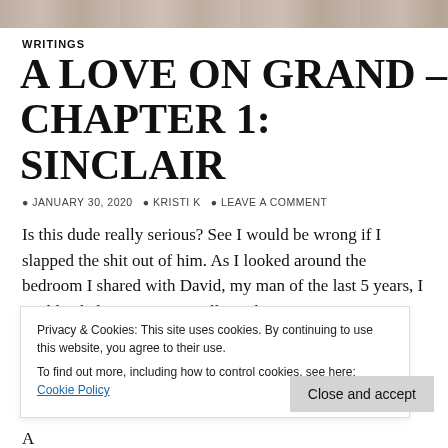[Figure (photo): Top banner image showing partial figures/scene in muted colors]
WRITINGS
A LOVE ON GRAND – CHAPTER 1: SINCLAIR
JANUARY 30, 2020   KRISTI K   LEAVE A COMMENT
Is this dude really serious? See I would be wrong if I slapped the shit out of him. As I looked around the bedroom I shared with David, my man of the last 5 years, I couldn't believe I was actually in this situation. I was hoping something would h... b... A... t... head to stop my rage. All the times that I sat there waiting
Privacy & Cookies: This site uses cookies. By continuing to use this website, you agree to their use.
To find out more, including how to control cookies, see here: Cookie Policy